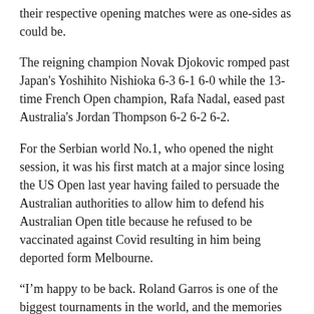their respective opening matches were as one-sides as could be.
The reigning champion Novak Djokovic romped past Japan's Yoshihito Nishioka 6-3 6-1 6-0 while the 13-time French Open champion, Rafa Nadal, eased past Australia's Jordan Thompson 6-2 6-2 6-2.
For the Serbian world No.1, who opened the night session, it was his first match at a major since losing the US Open last year having failed to persuade the Australian authorities to allow him to defend his Australian Open title because he refused to be vaccinated against Covid resulting in him being deported form Melbourne.
“I’m happy to be back. Roland Garros is one of the biggest tournaments in the world, and the memories from last year still are fresh in my head, in my mind,” said Djokovic.